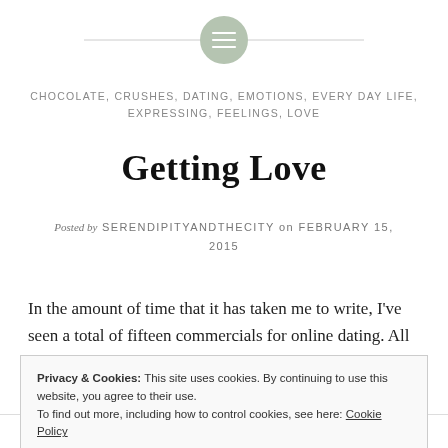CHOCOLATE, CRUSHES, DATING, EMOTIONS, EVERY DAY LIFE, EXPRESSING, FEELINGS, LOVE
Getting Love
Posted by SERENDIPITYANDTHECITY on FEBRUARY 15, 2015
In the amount of time that it has taken me to write, I've seen a total of fifteen commercials for online dating. All
Privacy & Cookies: This site uses cookies. By continuing to use this website, you agree to their use. To find out more, including how to control cookies, see here: Cookie Policy
Close and accept
FOLLOW ...